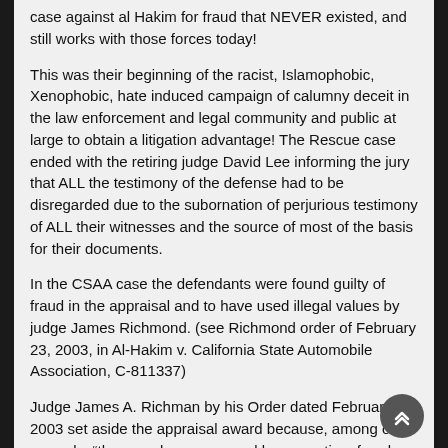case against al Hakim for fraud that NEVER existed, and still works with those forces today!
This was their beginning of the racist, Islamophobic, Xenophobic, hate induced campaign of calumny deceit in the law enforcement and legal community and public at large to obtain a litigation advantage! The Rescue case ended with the retiring judge David Lee informing the jury that ALL the testimony of the defense had to be disregarded due to the subornation of perjurious testimony of ALL their witnesses and the source of most of the basis for their documents.
In the CSAA case the defendants were found guilty of fraud in the appraisal and to have used illegal values by judge James Richmond. (see Richmond order of February 23, 2003, in Al-Hakim v. California State Automobile Association, C-811337)
Judge James A. Richman by his Order dated February 23, 2003 set aside the appraisal award because, among other grounds, “the award was procured by corruption, fraud, or other undue means”; or the appraisers “exceeded their powers and the award cannot be corrected without affecting the merits of the decision upon the controversy submitted”. The order further cited the improper use of “cash value” as replacement cost, use of erroneous “used cost” figures, denial of coverage, injection of fraud, concealment, breach of contract, and coverage issues without any reason or evidence. Due to their subornation of